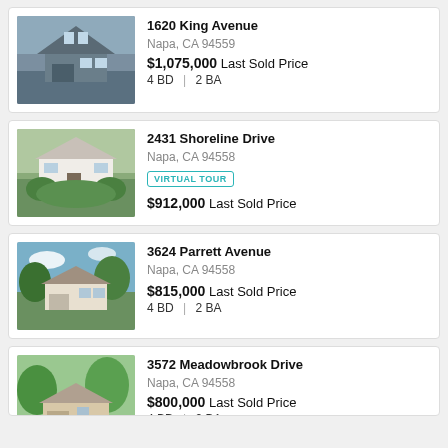[Figure (photo): Exterior photo of 1620 King Avenue, a two-story house with gray siding, large windows, and a garage]
1620 King Avenue
Napa, CA 94559
$1,075,000 Last Sold Price
4 BD | 2 BA
[Figure (photo): Exterior photo of 2431 Shoreline Drive, a white single-story house with lush greenery]
2431 Shoreline Drive
Napa, CA 94558
VIRTUAL TOUR
$912,000 Last Sold Price
[Figure (photo): Exterior photo of 3624 Parrett Avenue, a ranch-style house with trees and blue sky]
3624 Parrett Avenue
Napa, CA 94558
$815,000 Last Sold Price
4 BD | 2 BA
[Figure (photo): Exterior photo of 3572 Meadowbrook Drive, a house with green trees and garage]
3572 Meadowbrook Drive
Napa, CA 94558
$800,000 Last Sold Price
4 BD | 2 BA